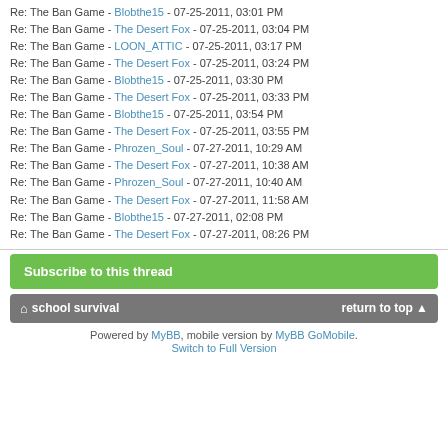Re: The Ban Game - Blobthe15 - 07-25-2011, 03:01 PM
Re: The Ban Game - The Desert Fox - 07-25-2011, 03:04 PM
Re: The Ban Game - LOON_ATTIC - 07-25-2011, 03:17 PM
Re: The Ban Game - The Desert Fox - 07-25-2011, 03:24 PM
Re: The Ban Game - Blobthe15 - 07-25-2011, 03:30 PM
Re: The Ban Game - The Desert Fox - 07-25-2011, 03:33 PM
Re: The Ban Game - Blobthe15 - 07-25-2011, 03:54 PM
Re: The Ban Game - The Desert Fox - 07-25-2011, 03:55 PM
Re: The Ban Game - Phrozen_Soul - 07-27-2011, 10:29 AM
Re: The Ban Game - The Desert Fox - 07-27-2011, 10:38 AM
Re: The Ban Game - Phrozen_Soul - 07-27-2011, 10:40 AM
Re: The Ban Game - The Desert Fox - 07-27-2011, 11:58 AM
Re: The Ban Game - Blobthe15 - 07-27-2011, 02:08 PM
Re: The Ban Game - The Desert Fox - 07-27-2011, 08:26 PM
Subscribe to this thread
school survival    return to top
Powered by MyBB, mobile version by MyBB GoMobile. Switch to Full Version